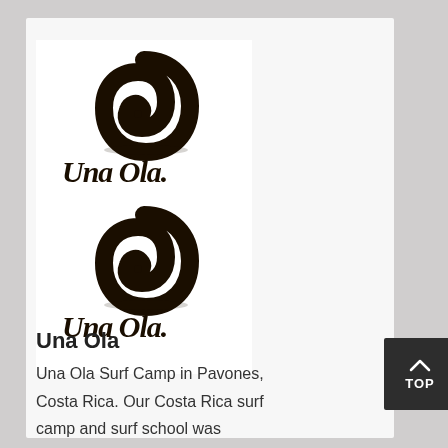[Figure (logo): Two stacked Una Ola logos on white background — each logo consists of a dark brown spiral/wave circle mark above cursive 'Una Ola.' text]
Una Ola
Una Ola Surf Camp in Pavones, Costa Rica. Our Costa Rica surf camp and surf school was designed to help beginner surfers